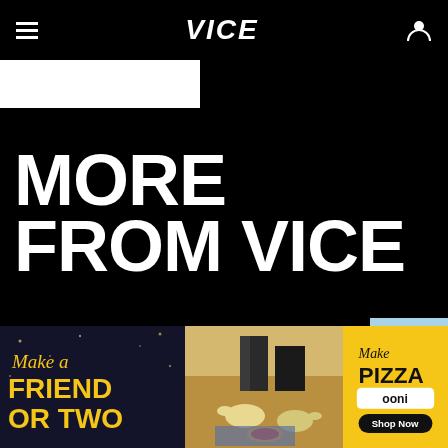VICE
MORE FROM VICE
Shopping
These National Orgasm Day Sex Toy Deals Will Make Y...
[Figure (photo): Purple and gold sex toy product photo]
[Figure (photo): Advertisement: Make a Friend or Two (dark background with yellow text)]
[Figure (photo): Photo of people and dogs at outdoor picnic with pizza]
[Figure (photo): Advertisement: Make Pizza - Ooni - Shop Now (yellow background)]